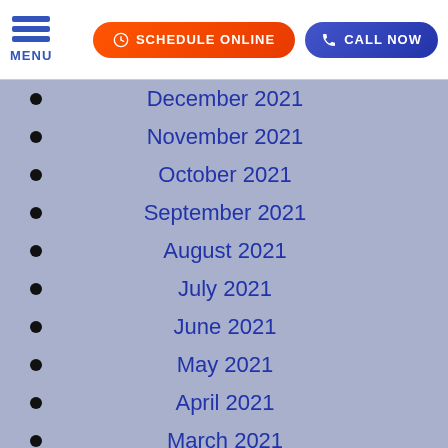MENU | SCHEDULE ONLINE | CALL NOW
December 2021
November 2021
October 2021
September 2021
August 2021
July 2021
June 2021
May 2021
April 2021
March 2021
February 2021
January 2021
December 2020
November 2020